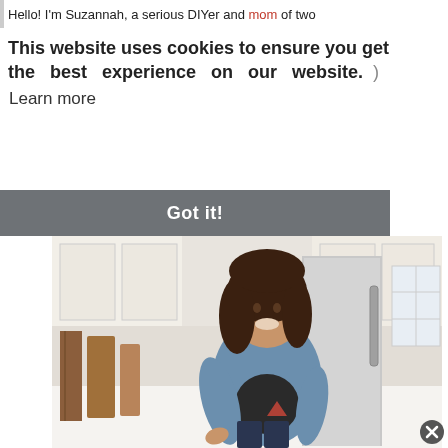Hello! I'm Suzannah, a serious DIYer and mom of two
This website uses cookies to ensure you get the best experience on our website.
Learn more
Got it!
[Figure (photo): A smiling woman with brown hair wearing a jean jacket, sitting in a bright white kitchen with cabinets, a stainless appliance, and wooden cutting boards nearby.]
x